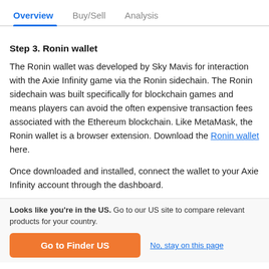Overview | Buy/Sell | Analysis
Step 3. Ronin wallet
The Ronin wallet was developed by Sky Mavis for interaction with the Axie Infinity game via the Ronin sidechain. The Ronin sidechain was built specifically for blockchain games and means players can avoid the often expensive transaction fees associated with the Ethereum blockchain. Like MetaMask, the Ronin wallet is a browser extension. Download the Ronin wallet here.
Once downloaded and installed, connect the wallet to your Axie Infinity account through the dashboard.
Looks like you're in the US. Go to our US site to compare relevant products for your country.
Go to Finder US
No, stay on this page